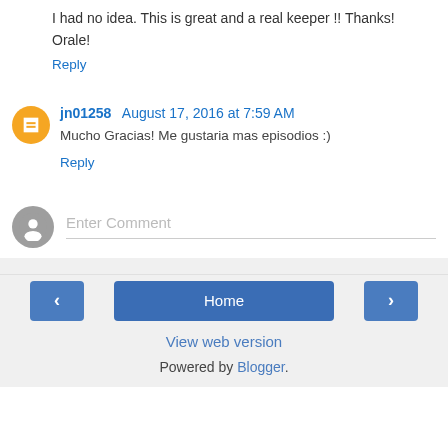I had no idea. This is great and a real keeper !! Thanks! Orale!
Reply
jn01258  August 17, 2016 at 7:59 AM
Mucho Gracias! Me gustaria mas episodios :)
Reply
Enter Comment
‹
Home
›
View web version
Powered by Blogger.